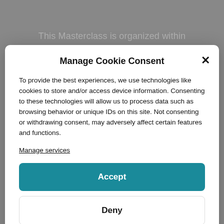This Masterclass is organized within
Manage Cookie Consent
To provide the best experiences, we use technologies like cookies to store and/or access device information. Consenting to these technologies will allow us to process data such as browsing behavior or unique IDs on this site. Not consenting or withdrawing consent, may adversely affect certain features and functions.
Manage services
Accept
Deny
View preferences
Cookie Policy   Privacy Policy – Terms of Service